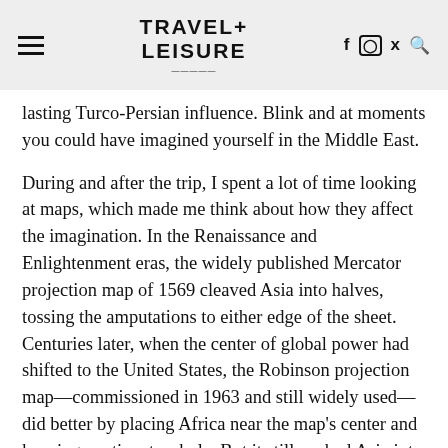TRAVEL+ LEISURE
lasting Turco-Persian influence. Blink and at moments you could have imagined yourself in the Middle East.
During and after the trip, I spent a lot of time looking at maps, which made me think about how they affect the imagination. In the Renaissance and Enlightenment eras, the widely published Mercator projection map of 1569 cleaved Asia into halves, tossing the amputations to either edge of the sheet. Centuries later, when the center of global power had shifted to the United States, the Robinson projection map—commissioned in 1963 and still widely used—did better by placing Africa near the map's center and keeping continents whole. But it still pushed Asia into the upper-right quadrant—way over there.
Doubtless like many Americans, I imagined Central Asia